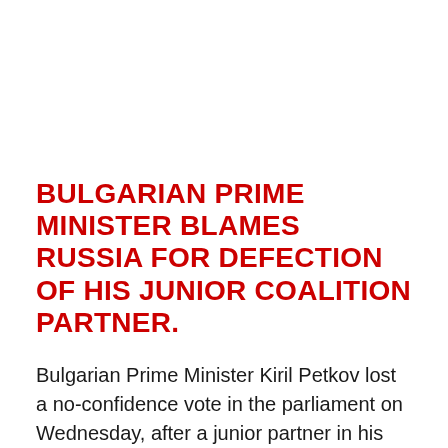BULGARIAN PRIME MINISTER BLAMES RUSSIA FOR DEFECTION OF HIS JUNIOR COALITION PARTNER.
Bulgarian Prime Minister Kiril Petkov lost a no-confidence vote in the parliament on Wednesday, after a junior partner in his tenuous ruling coalition joined the opposition.